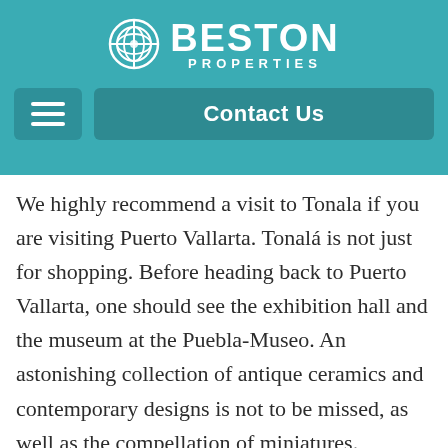BESTON PROPERTIES
We highly recommend a visit to Tonala if you are visiting Puerto Vallarta. Tonalá is not just for shopping. Before heading back to Puerto Vallarta, one should see the exhibition hall and the museum at the Puebla-Museo. An astonishing collection of antique ceramics and contemporary designs is not to be missed, as well as the compellation of miniatures. Another essential stop is the Capilla de la Cruz (Chapel of the White Cross) where first mass was presented